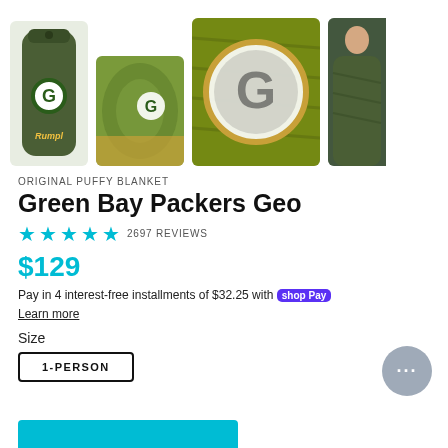[Figure (photo): Four product thumbnail images of Green Bay Packers Geo puffy blanket: packed in green stuff sack, laid flat showing blanket design, close-up of Packers G logo, person wrapped in blanket]
ORIGINAL PUFFY BLANKET
Green Bay Packers Geo
★ ★ ★ ★ ★ 2697 REVIEWS
$129
Pay in 4 interest-free installments of $32.25 with Shop Pay
Learn more
Size
1-PERSON